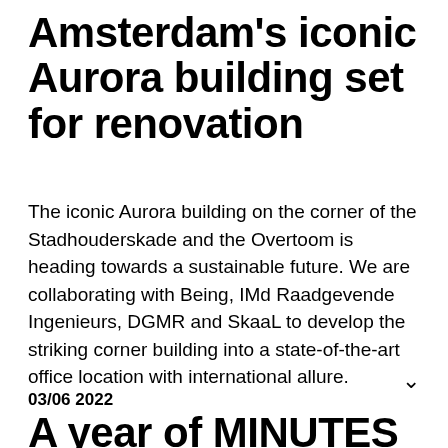Amsterdam's iconic Aurora building set for renovation
The iconic Aurora building on the corner of the Stadhouderskade and the Overtoom is heading towards a sustainable future. We are collaborating with Being, IMd Raadgevende Ingenieurs, DGMR and SkaaL to develop the striking corner building into a state-of-the-art office location with international allure.
03/06 2022
A year of MINUTES – Making of KAAN